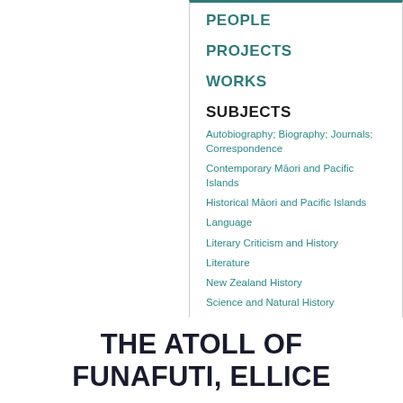PEOPLE
PROJECTS
WORKS
SUBJECTS
Autobiography; Biography; Journals; Correspondence
Contemporary Māori and Pacific Islands
Historical Māori and Pacific Islands
Language
Literary Criticism and History
Literature
New Zealand History
Science and Natural History
THE ATOLL OF FUNAFUTI, ELLICE